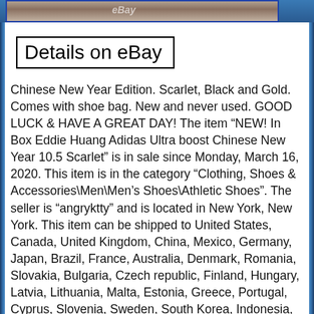[Figure (photo): Partial top of an eBay product photo showing shoes, cropped at the top of the page with a dark blue border]
Details on eBay
Chinese New Year Edition. Scarlet, Black and Gold. Comes with shoe bag. New and never used. GOOD LUCK & HAVE A GREAT DAY! The item "NEW! In Box Eddie Huang Adidas Ultra boost Chinese New Year 10.5 Scarlet" is in sale since Monday, March 16, 2020. This item is in the category "Clothing, Shoes & Accessories\Men\Men's Shoes\Athletic Shoes". The seller is "angryktty" and is located in New York, New York. This item can be shipped to United States, Canada, United Kingdom, China, Mexico, Germany, Japan, Brazil, France, Australia, Denmark, Romania, Slovakia, Bulgaria, Czech republic, Finland, Hungary, Latvia, Lithuania, Malta, Estonia, Greece, Portugal, Cyprus, Slovenia, Sweden, South Korea, Indonesia, Taiwan, South